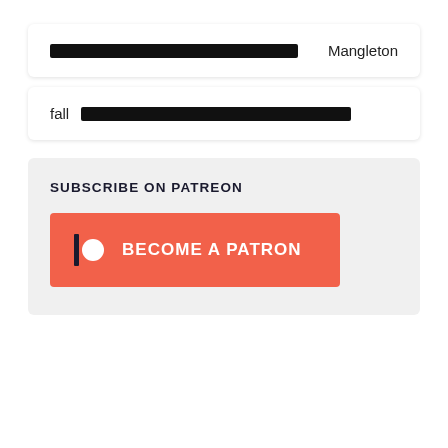Mangleton
fall
SUBSCRIBE ON PATREON
BECOME A PATRON